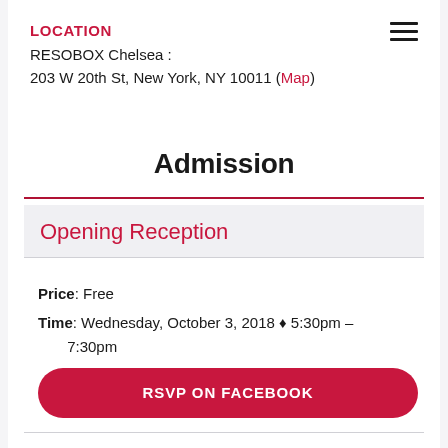LOCATION
RESOBOX Chelsea : 
203 W 20th St, New York, NY 10011 (Map)
Admission
Opening Reception
Price: Free
Time: Wednesday, October 3, 2018 ♦ 5:30pm – 7:30pm
RSVP ON FACEBOOK